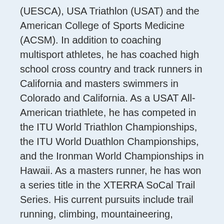(UESCA), USA Triathlon (USAT) and the American College of Sports Medicine (ACSM). In addition to coaching multisport athletes, he has coached high school cross country and track runners in California and masters swimmers in Colorado and California. As a USAT All-American triathlete, he has competed in the ITU World Triathlon Championships, the ITU World Duathlon Championships, and the Ironman World Championships in Hawaii. As a masters runner, he has won a series title in the XTERRA SoCal Trail Series. His current pursuits include trail running, climbing, mountaineering, skimo, and cross-country skiing.